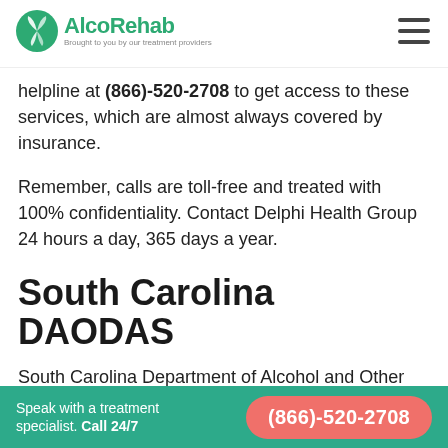AlcoRehab — Brought to you by our treatment providers
helpline at (866)-520-2708 to get access to these services, which are almost always covered by insurance.
Remember, calls are toll-free and treated with 100% confidentiality. Contact Delphi Health Group 24 hours a day, 365 days a year.
South Carolina DAODAS
South Carolina Department of Alcohol and Other Drug Abuse Services can be reached through the alcohol hotline number 803-896-5555. Representatives provide alcohol treatment information and appropriate referrals to alcohol
Speak with a treatment specialist. Call 24/7  (866)-520-2708